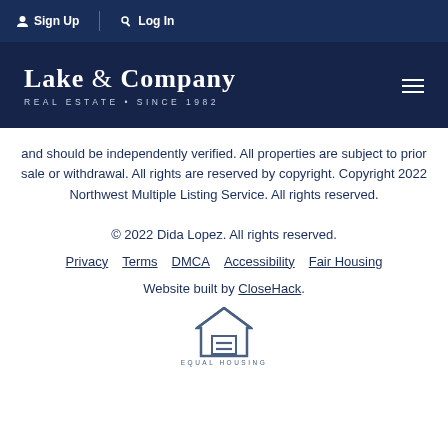Sign Up  Log In
[Figure (logo): Lake & Company Real Estate Since 1982 logo on dark navy background with hamburger menu icon]
and should be independently verified. All properties are subject to prior sale or withdrawal. All rights are reserved by copyright. Copyright 2022 Northwest Multiple Listing Service. All rights reserved.
© 2022 Dida Lopez. All rights reserved.
Privacy  Terms  DMCA  Accessibility  Fair Housing
Website built by CloseHack.
EQUAL HOUSING